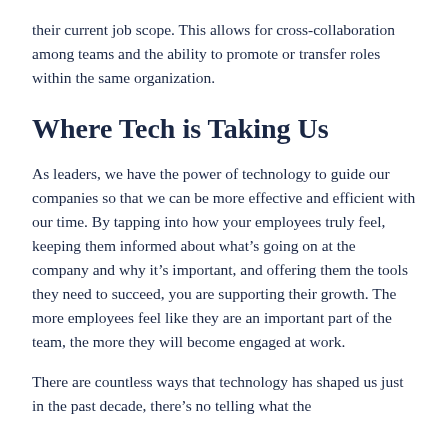their current job scope. This allows for cross-collaboration among teams and the ability to promote or transfer roles within the same organization.
Where Tech is Taking Us
As leaders, we have the power of technology to guide our companies so that we can be more effective and efficient with our time. By tapping into how your employees truly feel, keeping them informed about what’s going on at the company and why it’s important, and offering them the tools they need to succeed, you are supporting their growth. The more employees feel like they are an important part of the team, the more they will become engaged at work.
There are countless ways that technology has shaped us just in the past decade, there’s no telling what the